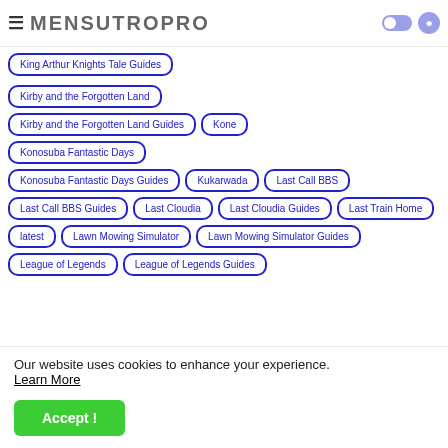MENSUTROPRO
King Arthur Knights Tale Guides
Kirby and the Forgotten Land
Kirby and the Forgotten Land Guides
Kone
Konosuba Fantastic Days
Konosuba Fantastic Days Guides
Kukarwada
Last Call BBS
Last Call BBS Guides
Last Cloudia
Last Cloudia Guides
Last Train Home
latest
Lawn Mowing Simulator
Lawn Mowing Simulator Guides
League of Legends
League of Legends Guides
Our website uses cookies to enhance your experience. Learn More
Accept !